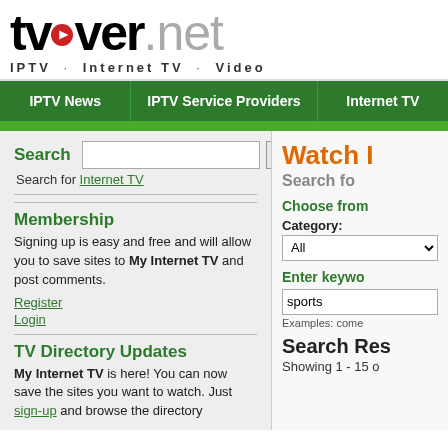[Figure (logo): tvover.net logo with play button icon, tagline IPTV · Internet TV · Video]
IPTV News | IPTV Service Providers | Internet TV
Search
Search for Internet TV
Membership
Signing up is easy and free and will allow you to save sites to My Internet TV and post comments.
Register
Login
TV Directory Updates
My Internet TV is here! You can now save the sites you want to watch. Just sign-up and browse the directory
Watch I... Search fo... Choose from... Category: All. Enter keywo... sports. Examples: come... Search Res... Showing 1 - 15 o...